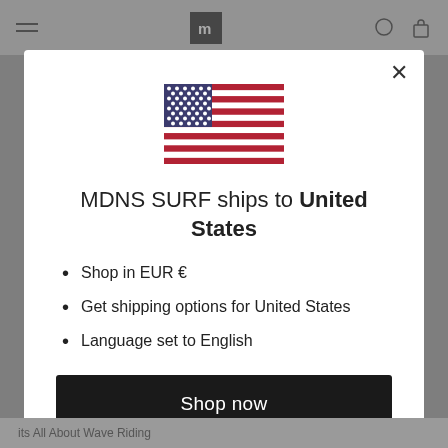[Figure (screenshot): Website header navigation bar with hamburger menu, logo 'm', search and cart icons on grey background]
[Figure (illustration): United States flag SVG illustration centered in modal]
MDNS SURF ships to United States
Shop in EUR €
Get shipping options for United States
Language set to English
Shop now
Change shipping country and language
its All About Wave Riding